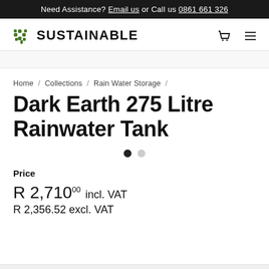Need Assistance? Email us or Call us 0861 661 326
[Figure (logo): Sustainable store logo with green tree icon and bold SUSTAINABLE text]
Home / Collections / Rain Water Storage /
Dark Earth 275 Litre Rainwater Tank
Price
R 2,71000 incl. VAT
R 2,356.52 excl. VAT